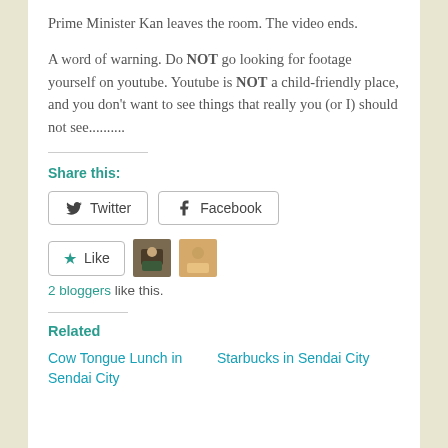Prime Minister Kan leaves the room. The video ends.
A word of warning. Do NOT go looking for footage yourself on youtube. Youtube is NOT a child-friendly place, and you don't want to see things that really you (or I) should not see..........
Share this:
[Figure (screenshot): Share buttons: Twitter and Facebook]
[Figure (screenshot): Like button with star icon and two blogger avatars. 2 bloggers like this.]
Related
Cow Tongue Lunch in Sendai City
Starbucks in Sendai City